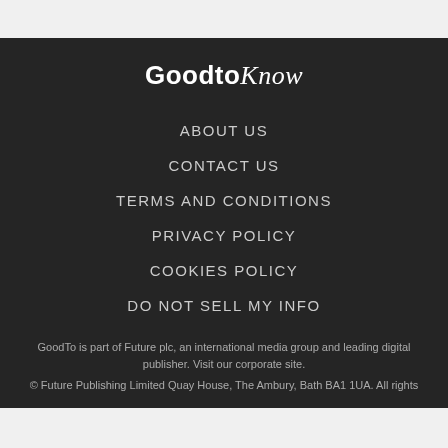[Figure (logo): GoodtoKnow logo in white text on dark background, with 'Goodto' in bold sans-serif and 'Know' in italic serif]
ABOUT US
CONTACT US
TERMS AND CONDITIONS
PRIVACY POLICY
COOKIES POLICY
DO NOT SELL MY INFO
GoodTo is part of Future plc, an international media group and leading digital publisher. Visit our corporate site.
© Future Publishing Limited Quay House, The Ambury, Bath BA1 1UA. All rights